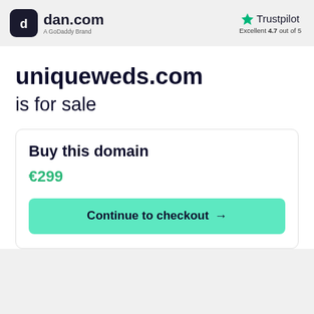[Figure (logo): dan.com logo with GoDaddy Brand tagline and Trustpilot Excellent 4.7 out of 5 rating]
uniqueweds.com is for sale
Buy this domain
€299
Continue to checkout →